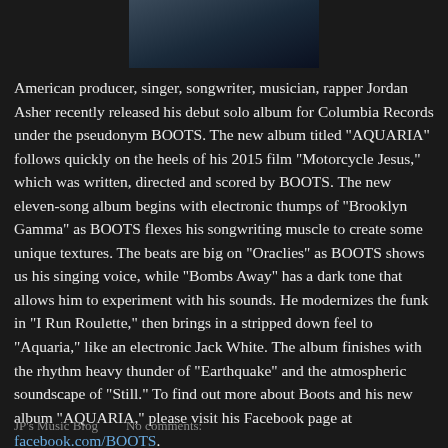[Figure (photo): Partial photo of a person, cropped at top of page, dark blue tones]
American producer, singer, songwriter, musician, rapper Jordan Asher recently released his debut solo album for Columbia Records under the pseudonym BOOTS. The new album titled "AQUARIA" follows quickly on the heels of his 2015 film "Motorcycle Jesus," which was written, directed and scored by BOOTS. The new eleven-song album begins with electronic thumps of "Brooklyn Gamma" as BOOTS flexes his songwriting muscle to create some unique textures. The beats are big on "Oraclies" as BOOTS shows us his singing voice, while "Bombs Away" has a dark tone that allows him to experiment with his sounds. He modernizes the funk in "I Run Roulette," then brings in a stripped down feel to "Aquaria," like an electronic Jack White. The album finishes with the rhythm heavy thunder of "Earthquake" and the atmospheric soundscape of "Still." To find out more about Boots and his new album "AQUARIA," please visit his Facebook page at facebook.com/BOOTS.
JP's Music Blog    No comments: